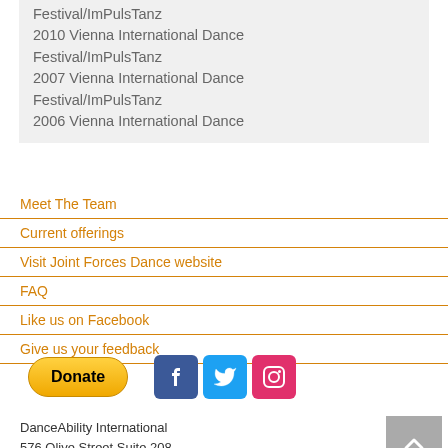Festival/ImPulsTanz
2010 Vienna International Dance Festival/ImPulsTanz
2007 Vienna International Dance Festival/ImPulsTanz
2006 Vienna International Dance
Meet The Team
Current offerings
Visit Joint Forces Dance website
FAQ
Like us on Facebook
Give us your feedback
[Figure (other): PayPal Donate button and social media icons for Facebook, Twitter, Instagram]
DanceAbility International
576 Olive Street Suite 208
Eugene, Oregon 97401 USA
541.357.4982